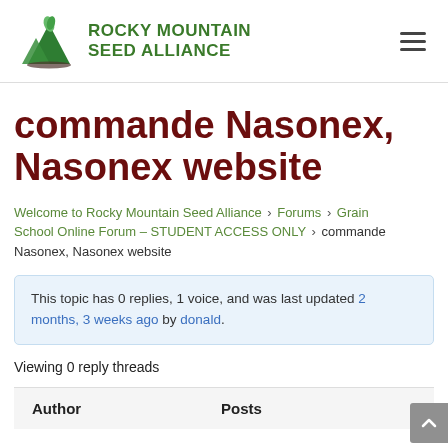ROCKY MOUNTAIN SEED ALLIANCE
commande Nasonex, Nasonex website
Welcome to Rocky Mountain Seed Alliance › Forums › Grain School Online Forum – STUDENT ACCESS ONLY › commande Nasonex, Nasonex website
This topic has 0 replies, 1 voice, and was last updated 2 months, 3 weeks ago by donald.
Viewing 0 reply threads
| Author | Posts |
| --- | --- |